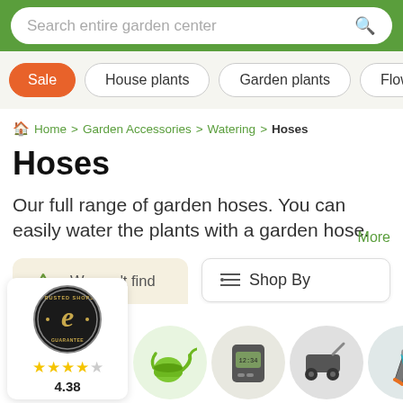Search entire garden center
Sale
House plants
Garden plants
Flower bul
Home > Garden Accessories > Watering > Hoses
Hoses
Our full range of garden hoses. You can easily water the plants with a garden hose. More
We can't find products matching the selection.
Shop By
[Figure (logo): Trusted Shops e-GUARANTEE badge with star rating 4.38]
[Figure (photo): Product thumbnails: watering can, garden timer, lawn mower, pruning shears]